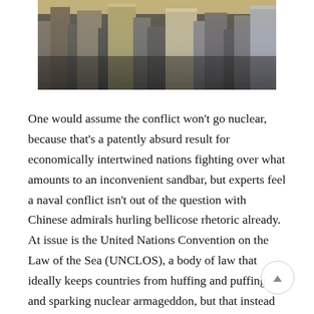[Figure (photo): Aerial photograph of city skyscrapers and buildings viewed from above, with golden/warm tones in the upper portion and darker tones below.]
One would assume the conflict won't go nuclear, because that's a patently absurd result for economically intertwined nations fighting over what amounts to an inconvenient sandbar, but experts feel a naval conflict isn't out of the question with Chinese admirals hurling bellicose rhetoric already. At issue is the United Nations Convention on the Law of the Sea (UNCLOS), a body of law that ideally keeps countries from huffing and puffing and sparking nuclear armageddon, but that instead leaves open enough avenues of interpretation that both sides swear up and down that they're following the letter of